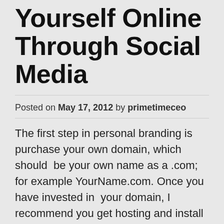Yourself Online Through Social Media
Posted on May 17, 2012 by primetimeceo
The first step in personal branding is purchase your own domain, which should  be your own name as a .com; for example YourName.com.  Once you have invested in  your domain, I recommend you get hosting and install a WordPress blog onto it.  Now the place I recommend you get your domain and hosting is